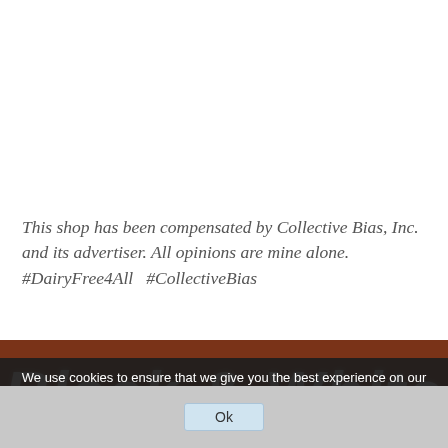This shop has been compensated by Collective Bias, Inc. and its advertiser. All opinions are mine alone. #DairyFree4All   #CollectiveBias
[Figure (photo): Brown/chocolate background with decorative white hand-lettered text reading 'Black & White']
We use cookies to ensure that we give you the best experience on our website. If you continue to use this site we will assume that you are happy with it.
Ok